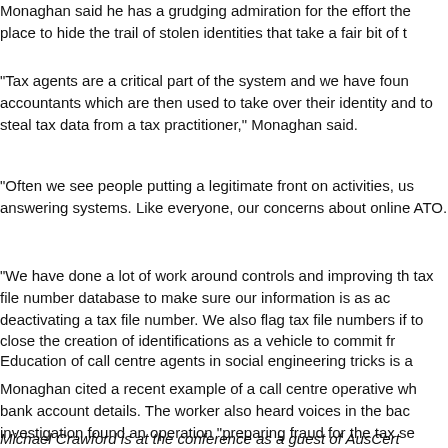Monaghan said he has a grudging admiration for the effort the place to hide the trail of stolen identities that take a fair bit of t
"Tax agents are a critical part of the system and we have foun accountants which are then used to take over their identity and to steal tax data from a tax practitioner," Monaghan said.
"Often we see people putting a legitimate front on activities, us answering systems. Like everyone, our concerns about online ATO.
"We have done a lot of work around controls and improving th tax file number database to make sure our information is as ac deactivating a tax file number. We also flag tax file numbers if to close the creation of identifications as a vehicle to commit fr
Education of call centre agents in social engineering tricks is a
Monaghan cited a recent example of a call centre operative wh bank account details. The worker also heard voices in the bac investigation found an operation "preparing fraud for the tax se
Michael Crawford is at the conference as a guest of AusCert